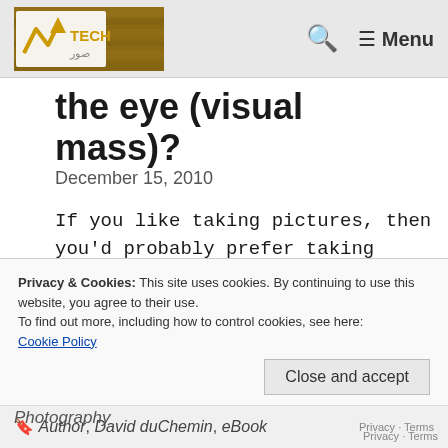TECH صور — Menu
the eye (visual mass)?
December 15, 2010
If you like taking pictures, then you'd probably prefer taking pictures that people like to look at as well. Sometimes we get lucky and capture a great shot, but often it takes a little bit of thought or planning to get it just right. Remember, don't just take
Privacy & Cookies: This site uses cookies. By continuing to use this website, you agree to their use.
To find out more, including how to control cookies, see here:
Cookie Policy
Close and accept
Photography
Author, David duChemin, eBook
Privacy · Terms